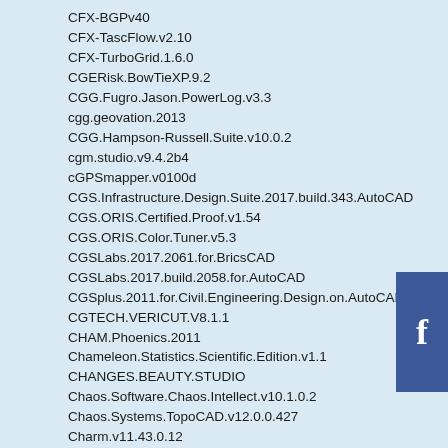CFX-BGPv40
CFX-TascFlow.v2.10
CFX-TurboGrid.1.6.0
CGERisk.BowTieXP.9.2
CGG.Fugro.Jason.PowerLog.v3.3
cgg.geovation.2013
CGG.Hampson-Russell.Suite.v10.0.2
cgm.studio.v9.4.2b4
cGPSmapper.v0100d
CGS.Infrastructure.Design.Suite.2017.build.343.AutoCAD
CGS.ORIS.Certified.Proof.v1.54
CGS.ORIS.Color.Tuner.v5.3
CGSLabs.2017.2061.for.BricsCAD
CGSLabs.2017.build.2058.for.AutoCAD
CGSplus.2011.for.Civil.Engineering.Design.on.AutoCAD.2008.2011.ENG
CGTECH.VERICUT.V8.1.1
CHAM.Phoenics.2011
Chameleon.Statistics.Scientific.Edition.v1.1
CHANGES.BEAUTY.STUDIO
Chaos.Software.Chaos.Intellect.v10.1.0.2
Chaos.Systems.TopoCAD.v12.0.0.427
Charm.v11.43.0.12
Chartwell.Yorke.Autograph.v4.0.12
Chasm.Consulting.PumpSim.Premium.v2.0.2.4
Chasm.Consulting.VentSim.Premium.Design.5.1.2.1